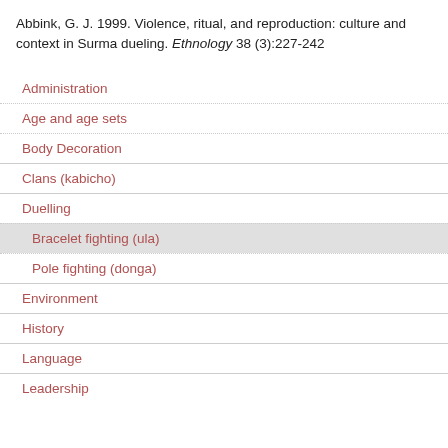Abbink, G. J. 1999. Violence, ritual, and reproduction: culture and context in Surma dueling. Ethnology 38 (3):227-242
Administration
Age and age sets
Body Decoration
Clans (kabicho)
Duelling
Bracelet fighting (ula)
Pole fighting (donga)
Environment
History
Language
Leadership